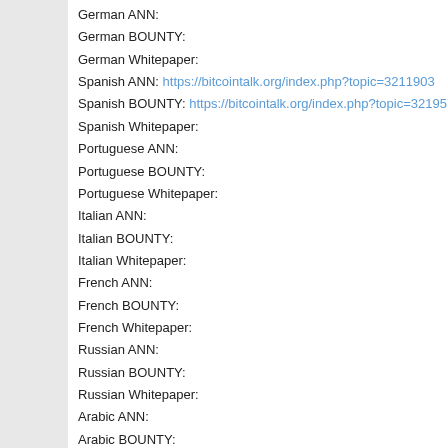German ANN:
German BOUNTY:
German Whitepaper:
Spanish ANN: https://bitcointalk.org/index.php?topic=3211903
Spanish BOUNTY: https://bitcointalk.org/index.php?topic=3219577
Spanish Whitepaper:
Portuguese ANN:
Portuguese BOUNTY:
Portuguese Whitepaper:
Italian ANN:
Italian BOUNTY:
Italian Whitepaper:
French ANN:
French BOUNTY:
French Whitepaper:
Russian ANN:
Russian BOUNTY:
Russian Whitepaper:
Arabic ANN:
Arabic BOUNTY:
Arabic Whitepaper:
Dutch ANN: https://bitcointalk.org/index.php?topic=3206405
Dutch BOUNTY: https://bitcointalk.org/index.php?topic=3206405.msg33296629#m
Dutch Whitepaper: https://drive.google.com/open?id=1X3_jGAz5fsTuM1xajComJg
Chinese ANN:
Chinese BOUNTY:
Chinese Whitepaper:
Korean ANN:
Korean BOUNTY:
Korean Whitepaper: